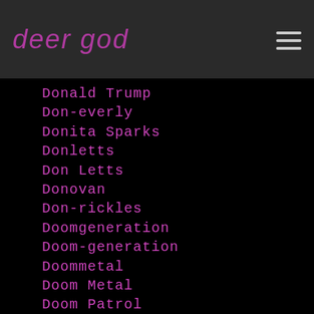deer god
Donald Trump
Don-everly
Donita Sparks
Donletts
Don Letts
Donovan
Don-rickles
Doomgeneration
Doom-generation
Doommetal
Doom Metal
Doom Patrol
Doors
Doo Wop
Dot-hacker
Double Indemnity
Doug-erikson